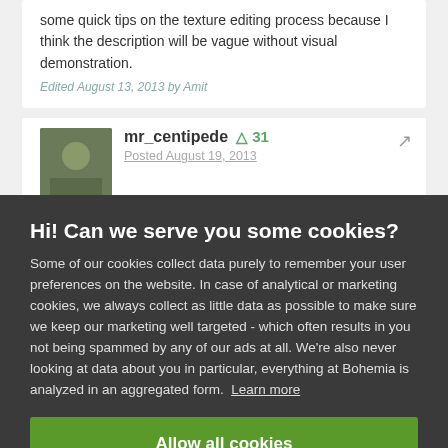some quick tips on the texture editing process because I think the description will be vague without visual demonstration.
Edited August 13, 2013 by Amit
mr_centipede +31 Posted August 19, 2013
Hi! Can we serve you some cookies?
Some of our cookies collect data purely to remember your user preferences on the website. In case of analytical or marketing cookies, we always collect as little data as possible to make sure we keep our marketing well targeted - which often results in you not being spammed by any of our ads at all. We're also never looking at data about you in particular, everything at Bohemia is analyzed in an aggregated form. Learn more
Allow all cookies
I want more options